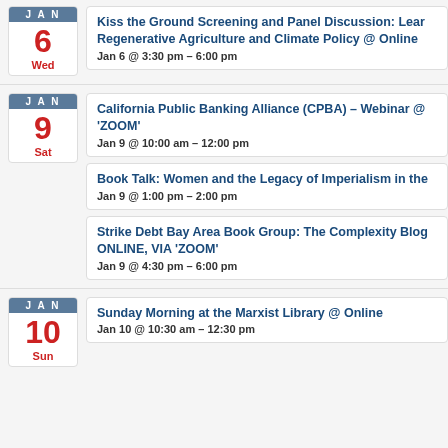Kiss the Ground Screening and Panel Discussion: Learn Regenerative Agriculture and Climate Policy @ Online | Jan 6 @ 3:30 pm – 6:00 pm
California Public Banking Alliance (CPBA) – Webinar @ 'ZOOM' | Jan 9 @ 10:00 am – 12:00 pm
Book Talk: Women and the Legacy of Imperialism in the | Jan 9 @ 1:00 pm – 2:00 pm
Strike Debt Bay Area Book Group: The Complexity Blog ONLINE, VIA 'ZOOM' | Jan 9 @ 4:30 pm – 6:00 pm
Sunday Morning at the Marxist Library @ Online | Jan 10 @ 10:30 am – 12:30 pm